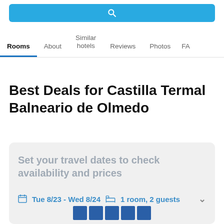[Figure (screenshot): Blue search bar at top of hotel booking page]
Rooms | About | Similar hotels | Reviews | Photos | FA
Best Deals for Castilla Termal Balneario de Olmedo
Set your travel dates to check availability and prices
Tue 8/23 - Wed 8/24   1 room, 2 guests